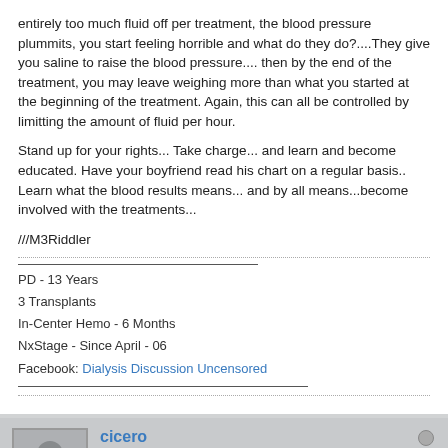entirely too much fluid off per treatment, the blood pressure plummits, you start feeling horrible and what do they do?....They give you saline to raise the blood pressure.... then by the end of the treatment, you may leave weighing more than what you started at the beginning of the treatment. Again, this can all be controlled by limitting the amount of fluid per hour.
Stand up for your rights... Take charge... and learn and become educated. Have your boyfriend read his chart on a regular basis.. Learn what the blood results means... and by all means...become involved with the treatments...
///M3Riddler
PD - 13 Years
3 Transplants
In-Center Hemo - 6 Months
NxStage - Since April - 06
Facebook: Dialysis Discussion Uncensored
cicero
Senior Member
Join Date: Oct 2006  Posts: 525